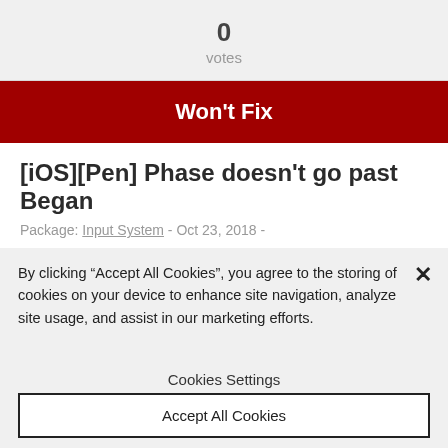0
votes
Won't Fix
[iOS][Pen] Phase doesn't go past Began
Package: Input System - Oct 23, 2018 -
Version/s: 0.0.9-preview
By clicking “Accept All Cookies”, you agree to the storing of cookies on your device to enhance site navigation, analyze site usage, and assist in our marketing efforts.
Cookies Settings
Accept All Cookies